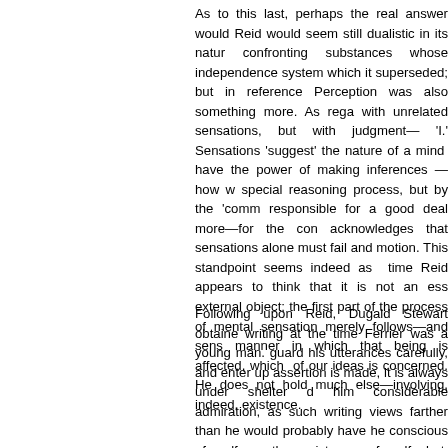As to this last, perhaps the real answer would be that Reid would seem still dualistic in its nature confronting substances whose independence system which it superseded; but in reference Perception was also something more. As rega with unrelated sensations, but with judgment— 'I.' Sensations 'suggest' the nature of a mind have the power of making inferences —how w special reasoning process, but by the 'comm responsible for a good deal more—for the con acknowledges that sensations alone must fail and motion. This standpoint seems indeed as time Reid appears to think that it is not an ess external object; the first part of the process of mental sensation merely follows—and sens manner in which that being is affected, which of our ideas is concerned. He does not hold much else—involving, indeed, existence.
Following upon Reid, Dugald Stewart obtaine writing at the time Ferrier was a young man. guard his utterances carefully, and enter up assertion is made, it is always under shelter him considerable admiration, as such writing views farther than he would probably have he conscious of self or the existence of self, but subsequent suggestion of the understanding, is the doctrine of Reid put very crudely, and sensation in earnest. Stewart adopted a if not untenable of beliefs which right